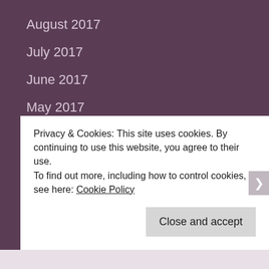August 2017
July 2017
June 2017
May 2017
April 2017
March 2017
February 2017
January 2017
December 2016
Privacy & Cookies: This site uses cookies. By continuing to use this website, you agree to their use.
To find out more, including how to control cookies, see here: Cookie Policy
Close and accept